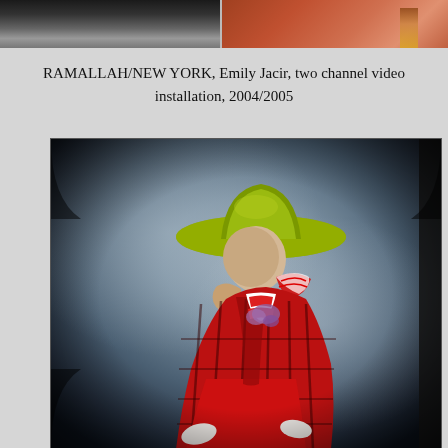[Figure (photo): Two-channel video installation stills shown side by side: left panel shows a dark interior scene, right panel shows a figure against an orange-red background.]
RAMALLAH/NEW YORK, Emily Jacir, two channel video installation, 2004/2005
[Figure (photo): Photograph of a mannequin or figure wearing a large yellow-green wide-brimmed hat, a red and white scarf/bandana, a red plaid cape, and a red gown with white gloves. The figure is posed against a dramatic dark grey cloudy studio backdrop. The image has a dark border/vignette.]